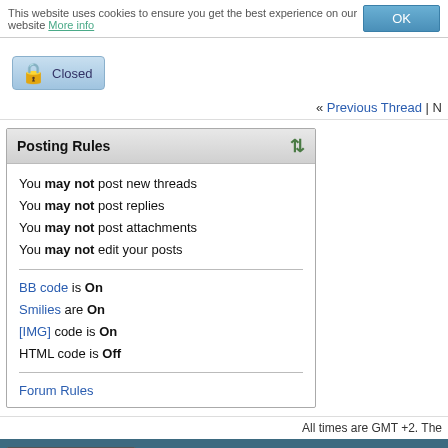This website uses cookies to ensure you get the best experience on our website More info
Closed
« Previous Thread | N
Posting Rules
You may not post new threads
You may not post replies
You may not post attachments
You may not edit your posts
BB code is On
Smilies are On
[IMG] code is On
HTML code is Off
Forum Rules
All times are GMT +2. The
English (US)
rts of the Design are used from Kirsch designed by Andrew & Austin
Powered by vBulletin® Version 3.8.10 Beta 1
Copyright ©2000 - 2022, Jelsoft Enterprises Ltd.